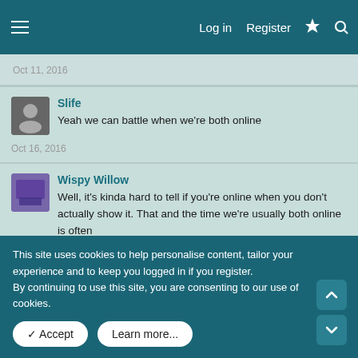Log in  Register
Oct 11, 2016
Slife
Yeah we can battle when we're both online
Oct 16, 2016
Wispy Willow
Well, it's kinda hard to tell if you're online when you don't actually show it. That and the time we're usually both online is often when one of us has to go to sleep 😁
Oct 19, 2016
Scarlet Sky   Sep 16, 2016
This site uses cookies to help personalise content, tailor your experience and to keep you logged in if you register.
By continuing to use this site, you are consenting to our use of cookies.
✓ Accept   Learn more...